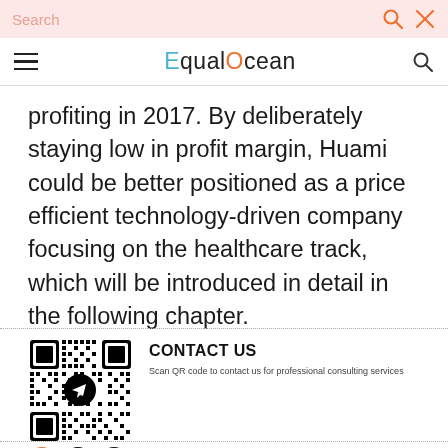Search | EqualOcean
profiting in 2017. By deliberately staying low in profit margin, Huami could be better positioned as a price efficient technology-driven company focusing on the healthcare track, which will be introduced in detail in the following chapter.
[Figure (other): QR code with Telegram icon overlay, and social media icons (Telegram, WeChat, WhatsApp) below]
CONTACT US
Scan QR code to contact us for professional consulting services